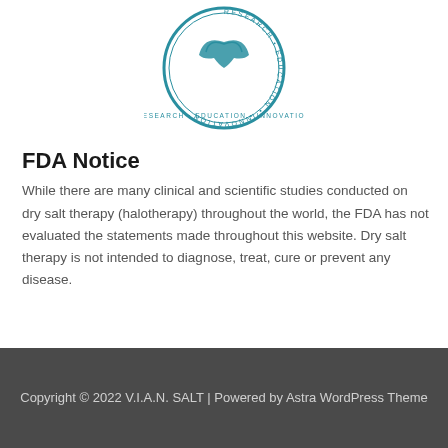[Figure (logo): Circular teal logo with hands and text RESEARCH · EDUCATION · INNOVATION around the border]
FDA Notice
While there are many clinical and scientific studies conducted on dry salt therapy (halotherapy) throughout the world, the FDA has not evaluated the statements made throughout this website. Dry salt therapy is not intended to diagnose, treat, cure or prevent any disease.
Copyright © 2022 V.I.A.N. SALT | Powered by Astra WordPress Theme